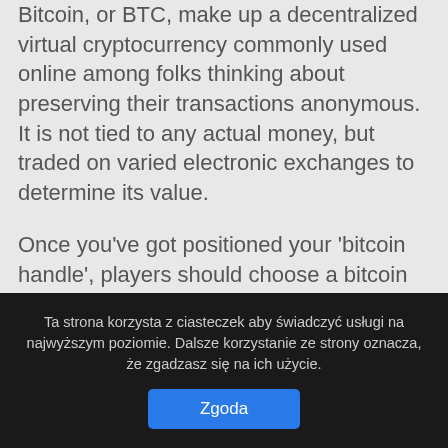Bitcoin, or BTC, make up a decentralized virtual cryptocurrency commonly used online among folks thinking about preserving their transactions anonymous. It is not tied to any actual money, but traded on varied electronic exchanges to determine its value.
Once you've got positioned your 'bitcoin handle', players should choose a bitcoin trade or bitcoin commerce market to make use of. There are many viable options to Bitcoin when enjoying online. While you are unlikely to search out many cryptocurrency options, you can choose from a variety of bank transfer, debit card and e-pockets choices. The solely impediment is, maybe, that many are confused by and
Ta strona korzysta z ciasteczek aby świadczyć usługi na najwyższym poziomie. Dalsze korzystanie ze strony oznacza, że zgadzasz się na ich użycie.
Zgoda